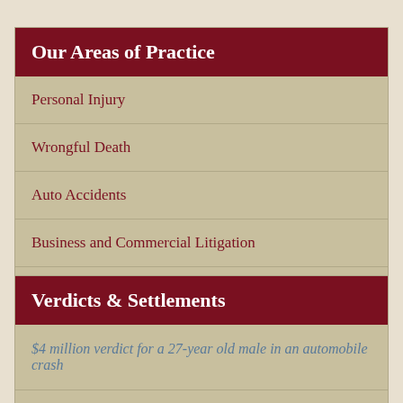Our Areas of Practice
Personal Injury
Wrongful Death
Auto Accidents
Business and Commercial Litigation
Mediation & Arbitration
Verdicts & Settlements
$4 million verdict for a 27-year old male in an automobile crash
$3 Million for two elderly people injured in an automobile crash